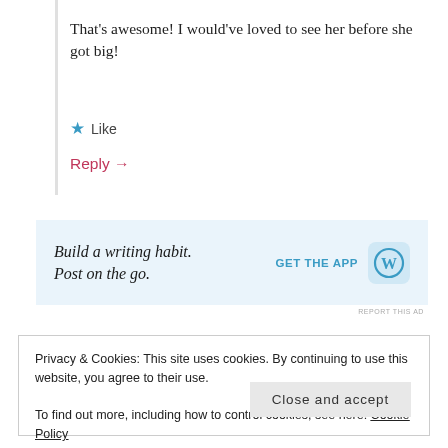That's awesome! I would've loved to see her before she got big!
★ Like
Reply →
[Figure (infographic): WordPress app advertisement banner: 'Build a writing habit. Post on the go.' with 'GET THE APP' button and WordPress logo]
REPORT THIS AD
Privacy & Cookies: This site uses cookies. By continuing to use this website, you agree to their use.
To find out more, including how to control cookies, see here: Cookie Policy
Close and accept